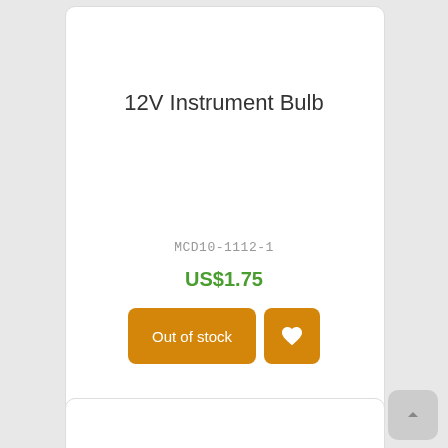12V Instrument Bulb
MCD10-1112-1
US$1.75
Out of stock